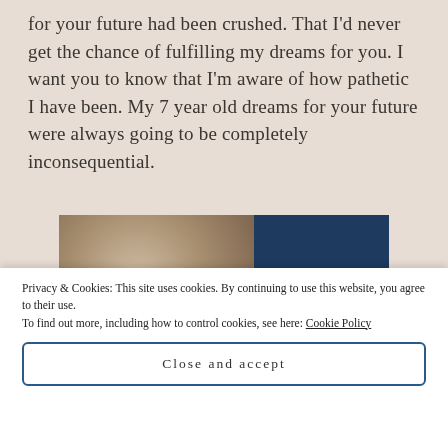for your future had been crushed. That I'd never get the chance of fulfilling my dreams for you. I want you to know that I'm aware of how pathetic I have been. My 7 year old dreams for your future were always going to be completely inconsequential.
[Figure (photo): Advertisement for WordPress hosting showing a woman holding an OPEN sign in a shop, with a dark navy panel on the right reading 'WORDPRESS HOSTING THAT MEANS BUSINESS.']
Privacy & Cookies: This site uses cookies. By continuing to use this website, you agree to their use.
To find out more, including how to control cookies, see here: Cookie Policy
Close and accept